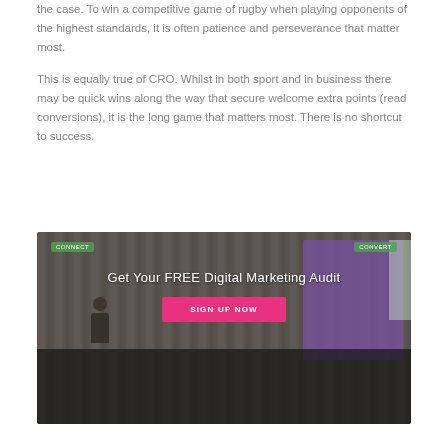the case. To win a competitive game of rugby when playing opponents of the highest standards, it is often patience and perseverance that matter most.
This is equally true of CRO. Whilst in both sport and in business there may be quick wins along the way that secure welcome extra points (read conversions), it is the long game that matters most. There is no shortcut to success.
[Figure (photo): Banner image showing a presenter speaking at a conference with an audience seated in front. Overlay text reads 'Get Your FREE Digital Marketing Audit' with a pink 'SIGN UP NOW' button.]